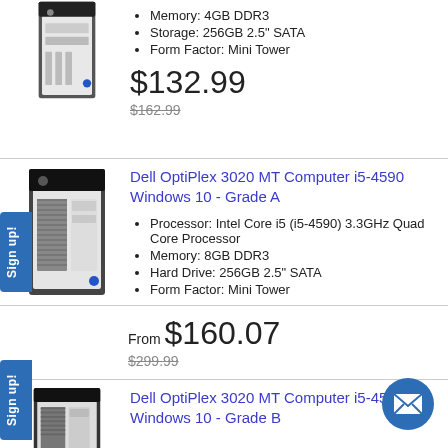[Figure (photo): Mini tower desktop computer, dark grey, top portion clipped]
Memory: 4GB DDR3
Storage: 256GB 2.5" SATA
Form Factor: Mini Tower
$132.99
$162.99
[Figure (photo): Dell OptiPlex 3020 MT mini tower desktop computer]
Dell OptiPlex 3020 MT Computer i5-4590 Windows 10 - Grade A
Processor: Intel Core i5 (i5-4590) 3.3GHz Quad Core Processor
Memory: 8GB DDR3
Hard Drive: 256GB 2.5" SATA
Form Factor: Mini Tower
From $160.07
$299.99
[Figure (photo): Dell OptiPlex 3020 MT mini tower desktop computer, partially visible]
Dell OptiPlex 3020 MT Computer i5-4590 Windows 10 - Grade B